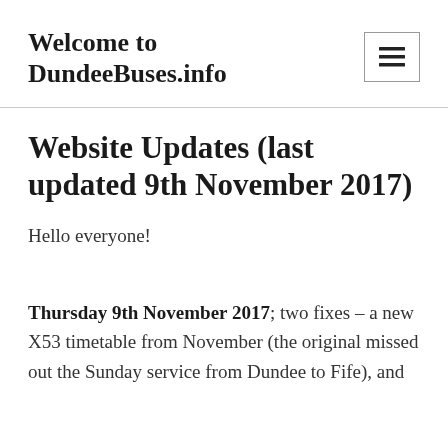Welcome to DundeeBuses.info
Website Updates (last updated 9th November 2017)
Hello everyone!
Thursday 9th November 2017; two fixes – a new X53 timetable from November (the original missed out the Sunday service from Dundee to Fife), and